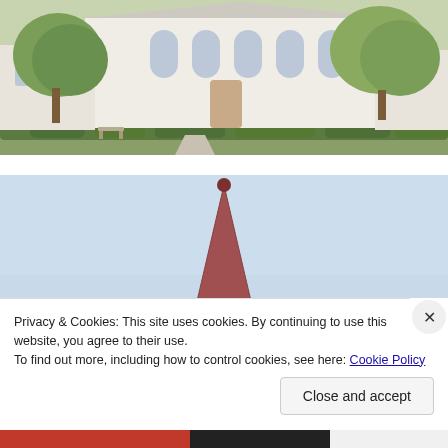[Figure (photo): Photograph of a white church building with arched windows and trees in front, green hedges along the facade, with a bench visible near the entrance.]
[Figure (photo): Photograph looking up at a pale blue sky with a church steeple/spire in reddish-brown color with a ball ornament at the top, partially visible roof structure at bottom.]
Privacy & Cookies: This site uses cookies. By continuing to use this website, you agree to their use.
To find out more, including how to control cookies, see here: Cookie Policy
Close and accept